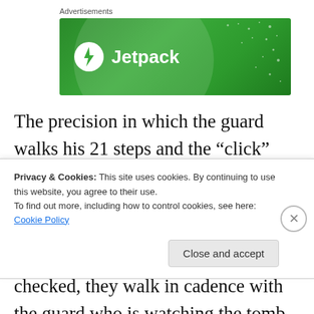Advertisements
[Figure (screenshot): Jetpack advertisement banner — green background with Jetpack logo (lightning bolt icon) and text 'Jetpack']
The precision in which the guard walks his 21 steps and the “click” you hear, often sends chills through my body. When the new guard comes into the hallowed ground he is inspected, head to toe, his rifle is checked, they walk in cadence with the guard who is watching the tomb
Privacy & Cookies: This site uses cookies. By continuing to use this website, you agree to their use.
To find out more, including how to control cookies, see here: Cookie Policy
Close and accept